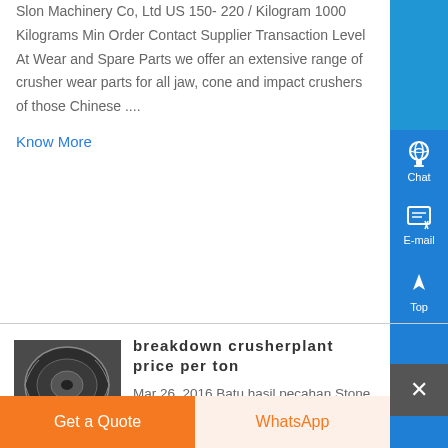Slon Machinery Co, Ltd US 150- 220 / Kilogram 1000 Kilograms Min Order Contact Supplier Transaction Level At Wear and Spare Parts we offer an extensive range of crusher wear parts for all jaw, cone and impact crushers of those Chinese ....
Know More
breakdown crusherplant price per ton
[Figure (photo): Photo of a large circular crusher bowl/mantle component, industrial machinery part shown from above]
Mar 26, 2016 Batu hasil pecahan Stone Crusher Plant Kapasitas 30-40 Ton Per Jam terdiri dari 3 ukuran, yaitu 0-5 mm, 5-10 mm, dan 10-20 mm Ukuran-ukuran